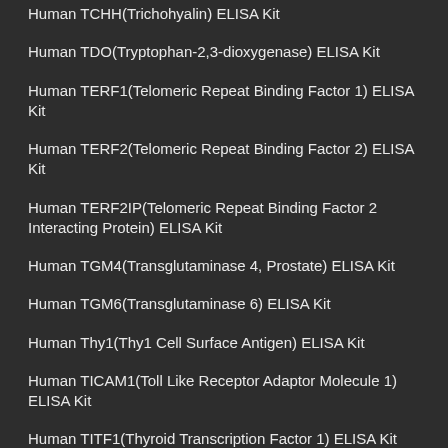Human TCHH(Trichohyalin) ELISA Kit
Human TDO(Tryptophan-2,3-dioxygenase) ELISA Kit
Human TERF1(Telomeric Repeat Binding Factor 1) ELISA Kit
Human TERF2(Telomeric Repeat Binding Factor 2) ELISA Kit
Human TERF2IP(Telomeric Repeat Binding Factor 2 Interacting Protein) ELISA Kit
Human TGM4(Transglutaminase 4, Prostate) ELISA Kit
Human TGM6(Transglutaminase 6) ELISA Kit
Human Thy1(Thy1 Cell Surface Antigen) ELISA Kit
Human TICAM1(Toll Like Receptor Adaptor Molecule 1) ELISA Kit
Human TITF1(Thyroid Transcription Factor 1) ELISA Kit